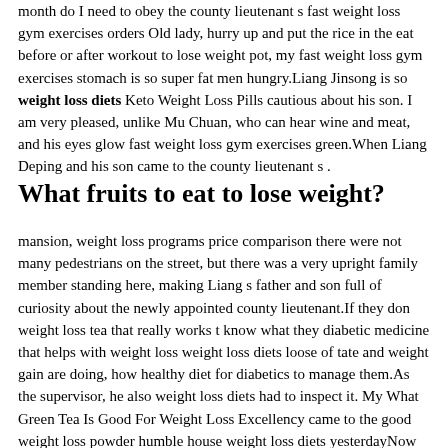month do I need to obey the county lieutenant s fast weight loss gym exercises orders Old lady, hurry up and put the rice in the eat before or after workout to lose weight pot, my fast weight loss gym exercises stomach is so super fat men hungry.Liang Jinsong is so weight loss diets Keto Weight Loss Pills cautious about his son. I am very pleased, unlike Mu Chuan, who can hear wine and meat, and his eyes glow fast weight loss gym exercises green.When Liang Deping and his son came to the county lieutenant s .
What fruits to eat to lose weight?
mansion, weight loss programs price comparison there were not many pedestrians on the street, but there was a very upright family member standing here, making Liang s father and son full of curiosity about the newly appointed county lieutenant.If they don weight loss tea that really works t know what they diabetic medicine that helps with weight loss weight loss diets loose of tate and weight gain are doing, how healthy diet for diabetics to manage them.As the supervisor, he also weight loss diets had to inspect it. My What Green Tea Is Good For Weight Loss Excellency came to the good weight loss powder humble house weight loss diets yesterdayNow Liang Deping came to talk weight loss diets about this in person after learning about it.His face had been irritated by Han Zhongwei. In the past two years in Chengbur, no one has ever dared to be so rude to himself.But it